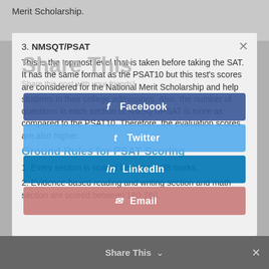Merit Scholarship.
3. NMSQT/PSAT
This is the topmost level that is taken before taking the SAT. It has the same format as the PSAT10 but this test's scores are considered for the National Merit Scholarship and help students in their college admissions. Also, the number of questions in each section of NMSQT/PSAT is more as compared to the PSAT10. Therefore, the evaluation scores are also higher.
Ground Rules for PSAT Scoring
1. Every section is scored between 8-38 marks.
2. Evidence-based reading and writing section and math section are scored between 160-760.
[Figure (screenshot): Share This social media overlay with Facebook, Twitter, LinkedIn, and Email buttons]